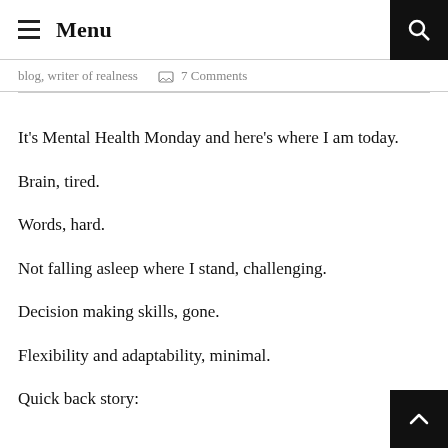Menu
blog, writer of realness   💬 7 Comments
It's Mental Health Monday and here's where I am today.
Brain, tired.
Words, hard.
Not falling asleep where I stand, challenging.
Decision making skills, gone.
Flexibility and adaptability, minimal.
Quick back story: